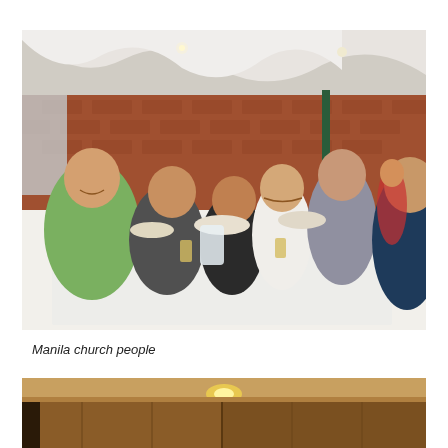[Figure (photo): Group of people seated around a long dining table covered with a white tablecloth in a restaurant or event hall with exposed brick walls and white draped ceiling. Several women are smiling at the camera; plates of food, glasses of juice, and a large water jug are visible on the table.]
Manila church people
[Figure (photo): Partial view of an interior room with warm wood-paneled walls and a ceiling light fixture, appears to be an entrance hall or lobby.]